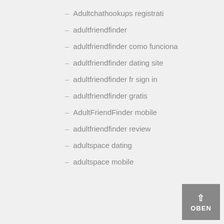– Adultchathookups registrati
– adultfriendfinder
– adultfriendfinder como funciona
– adultfriendfinder dating site
– adultfriendfinder fr sign in
– adultfriendfinder gratis
– AdultFriendFinder mobile
– adultfriendfinder review
– adultspace dating
– adultspace mobile